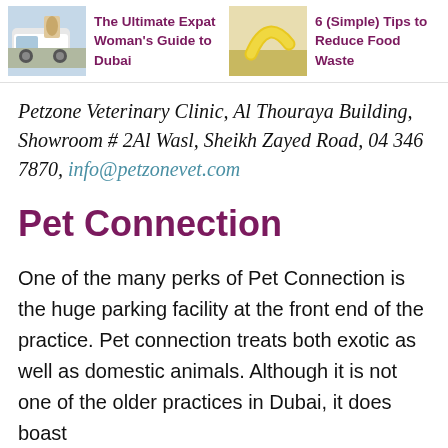[Figure (photo): Thumbnail photo of a car scene for 'The Ultimate Expat Woman's Guide to Dubai']
The Ultimate Expat Woman's Guide to Dubai
[Figure (photo): Thumbnail photo of a banana on a surface for '6 (Simple) Tips to Reduce Food Waste']
6 (Simple) Tips to Reduce Food Waste
Petzone Veterinary Clinic, Al Thouraya Building, Showroom # 2Al Wasl, Sheikh Zayed Road, 04 346 7870, info@petzonevet.com
Pet Connection
One of the many perks of Pet Connection is the huge parking facility at the front end of the practice. Pet connection treats both exotic as well as domestic animals. Although it is not one of the older practices in Dubai, it does boast